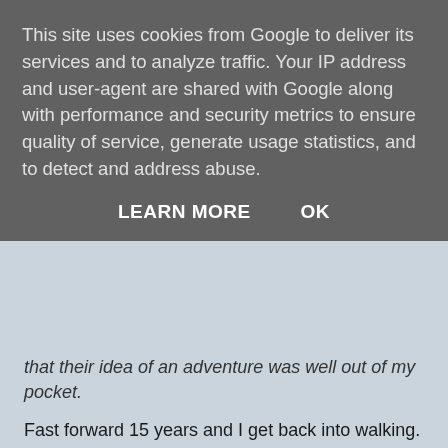This site uses cookies from Google to deliver its services and to analyze traffic. Your IP address and user-agent are shared with Google along with performance and security metrics to ensure quality of service, generate usage statistics, and to detect and address abuse.
LEARN MORE   OK
that their idea of an adventure was well out of my pocket.
Fast forward 15 years and I get back into walking. While I was reading on the net, I found a couple of websites that really fired my imagination. The first was 'One man and a Bivi' a website with the story of a man who sat up one day and decided that he wanted to go camping in a Bivi bag.. He didn't go climb Everest, he wasn't doing this for anyone else, he just wanted to try something different. Around the same time I started to go onto the forum at Live For the Outdoors (an offshoot of Trail magazine. If you don't go there and you are into walking or climbing, give it a try. No matter how trivial the question, there's always someone who will help or lend an opinion. The people who post helped me enormously in getting back out there and if you have a